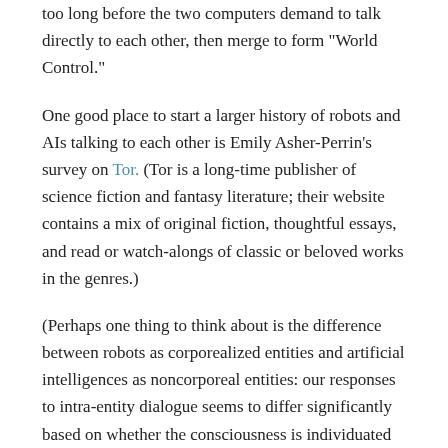too long before the two computers demand to talk directly to each other, then merge to form “World Control.”
One good place to start a larger history of robots and AIs talking to each other is Emily Asher-Perrin’s survey on Tor. (Tor is a long-time publisher of science fiction and fantasy literature; their website contains a mix of original fiction, thoughtful essays, and read or watch-alongs of classic or beloved works in the genres.)
(Perhaps one thing to think about is the difference between robots as corporealized entities and artificial intelligences as noncorporeal entities: our responses to intra-entity dialogue seems to differ significantly based on whether the consciousness is individuated in a way that our own seems to be.)
Posted on 2017-10-08. Posted in work | Leave a comment